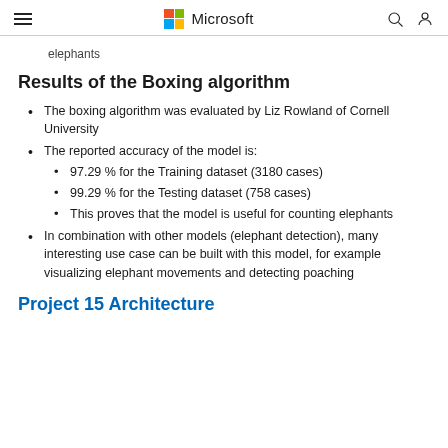Microsoft
elephants
Results of the Boxing algorithm
The boxing algorithm was evaluated by Liz Rowland of Cornell University
The reported accuracy of the model is:
97.29 % for the Training dataset (3180 cases)
99.29 % for the Testing dataset (758 cases)
This proves that the model is useful for counting elephants
In combination with other models (elephant detection), many interesting use case can be built with this model, for example visualizing elephant movements and detecting poaching
Project 15 Architecture